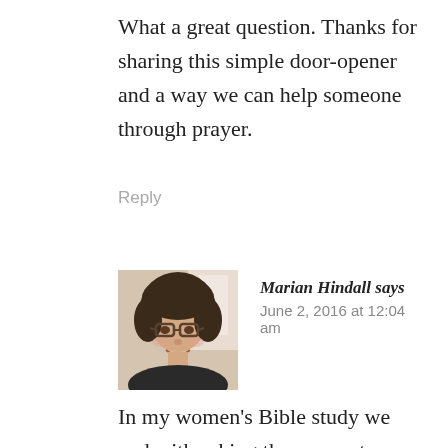What a great question. Thanks for sharing this simple door-opener and a way we can help someone through prayer.
Reply
[Figure (photo): Profile photo of Marian Hindall, a woman with short dark hair and glasses, smiling]
Marian Hindall says
June 2, 2016 at 12:04 am
In my women's Bible study we end with asking the person to our left how can I pray for you? I keep a journal and write